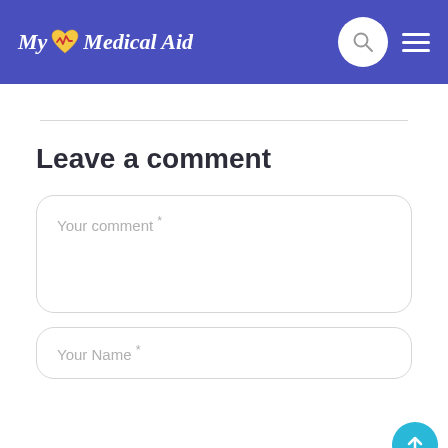My Medical Aid
Leave a comment
Your comment *
Your Name *